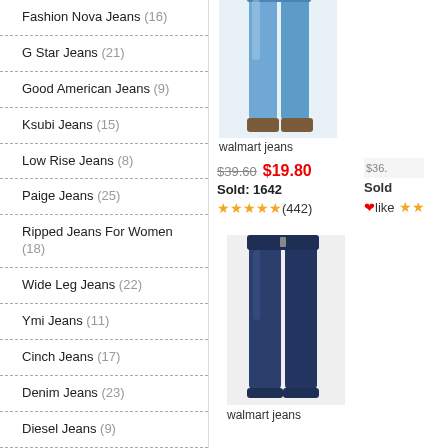Fashion Nova Jeans (16)
G Star Jeans (21)
Good American Jeans (9)
Ksubi Jeans (15)
Low Rise Jeans (8)
Paige Jeans (25)
Ripped Jeans For Women (18)
Wide Leg Jeans (22)
Ymi Jeans (11)
Cinch Jeans (17)
Denim Jeans (23)
Diesel Jeans (9)
Express Jeans (15)
Gap Jeans (15)
Girbaud Jeans (8)
[Figure (photo): Product photo of women's skinny jeans, light blue wash, full length on model]
walmart jeans
$39.60  $19.80
Sold: 1642
★★★★★(442)
[Figure (photo): Product photo of women's dark blue skinny jeans, full length on mannequin]
walmart jeans